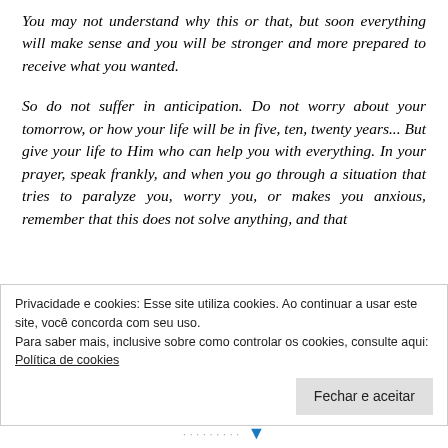You may not understand why this or that, but soon everything will make sense and you will be stronger and more prepared to receive what you wanted.
So do not suffer in anticipation. Do not worry about your tomorrow, or how your life will be in five, ten, twenty years... But give your life to Him who can help you with everything. In your prayer, speak frankly, and when you go through a situation that tries to paralyze you, worry you, or makes you anxious, remember that this does not solve anything, and that
Privacidade e cookies: Esse site utiliza cookies. Ao continuar a usar este site, você concorda com seu uso.
Para saber mais, inclusive sobre como controlar os cookies, consulte aqui: Política de cookies
Fechar e aceitar